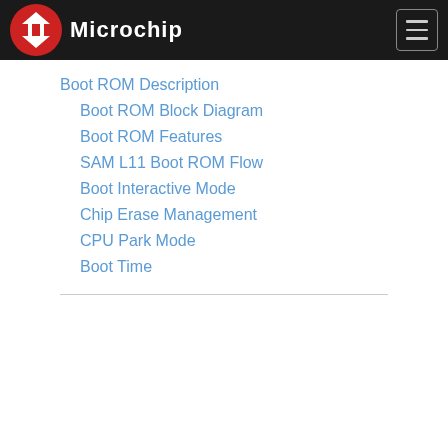Microchip
Boot ROM Description
Boot ROM Block Diagram
Boot ROM Features
SAM L11 Boot ROM Flow
Boot Interactive Mode
Chip Erase Management
CPU Park Mode
Boot Time